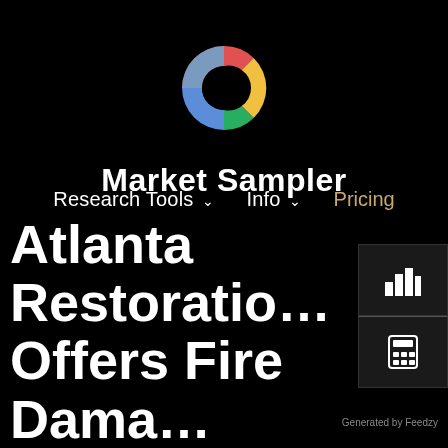[Figure (logo): Market Sampler donut-ring logo with red, yellow, green, and blue segments on black background]
Market Sampler
Research Tools ∨   Info ∨   Pricing
Atlanta Restoration Offers Fire Damage Restoration in